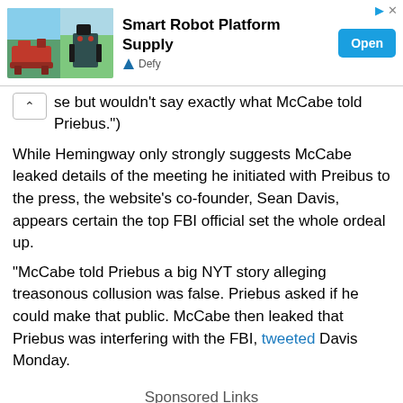[Figure (screenshot): Advertisement banner for Smart Robot Platform Supply by Defy, showing two robot images on the left, bold title text in the center, and a blue Open button on the right.]
se but wouldn't say exactly what McCabe told Priebus.")
While Hemingway only strongly suggests McCabe leaked details of the meeting he initiated with Preibus to the press, the website's co-founder, Sean Davis, appears certain the top FBI official set the whole ordeal up.
“McCabe told Priebus a big NYT story alleging treasonous collusion was false. Priebus asked if he could make that public. McCabe then leaked that Priebus was interfering with the FBI, tweeted Davis Monday.
Sponsored Links